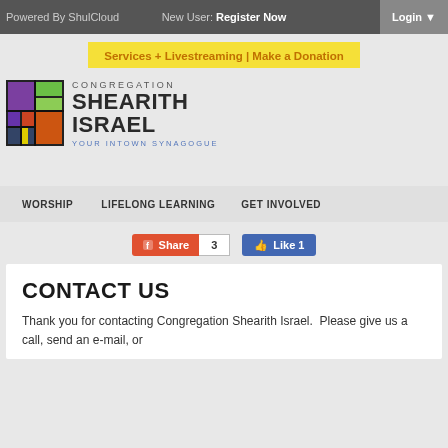Powered By ShulCloud   New User: Register Now   Login
Services + Livestreaming | Make a Donation
[Figure (logo): Congregation Shearith Israel - Your Intown Synagogue logo with stained glass window graphic]
WORSHIP   LIFELONG LEARNING   GET INVOLVED
[Figure (screenshot): Facebook Share button (3 shares) and Like button (1 like)]
CONTACT US
Thank you for contacting Congregation Shearith Israel.  Please give us a call, send an e-mail, or